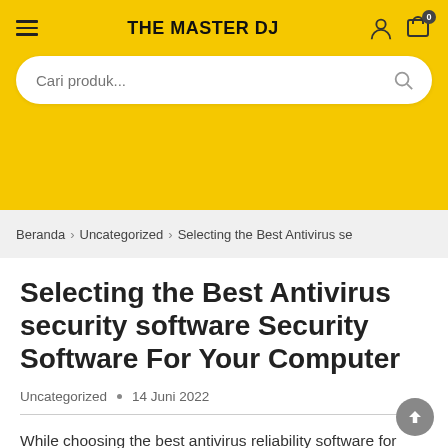THE MASTER DJ
Cari produk...
Beranda > Uncategorized > Selecting the Best Antivirus se
Selecting the Best Antivirus security software Security Software For Your Computer
Uncategorized • 14 Juni 2022
While choosing the best antivirus reliability software for your computer, you should take a few factors into consideration. Antiviruses should be fast to scan for viruses certainly not consume a number of your computer's resources. A slow